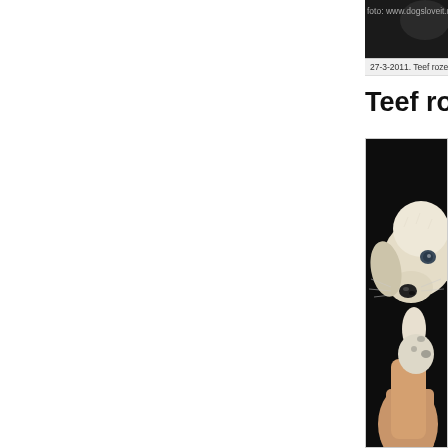[Figure (photo): Top partial photo strip with dark background and watermark text 'foto: www.dogsloveit.n']
27-3-2011. Teef roze ban…
Teef rood bandje/ Hündin rot…
[Figure (photo): Close-up photo of a newborn white/cream Labrador puppy being held by a person's hand. The puppy has blue eyes and spotted markings. Dark background.]